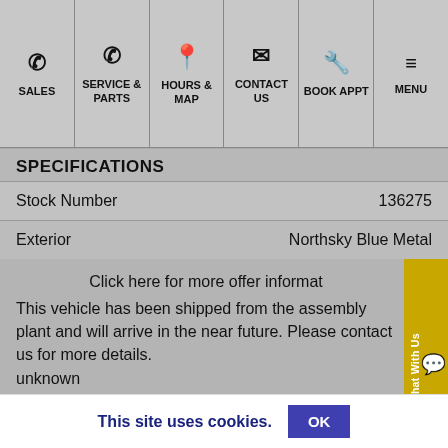SALES | SERVICE & PARTS | HOURS & MAP | CONTACT US | BOOK APPT | MENU
SPECIFICATIONS
| Stock Number | 136275 |
| Exterior | Northsky Blue Metal |
Click here for more offer informat
This vehicle has been shipped from the assembly plant and will arrive in the near future. Please contact us for more details. unknown
CLICK HERE FOR INSTANT PRE-APPROVAL
This site uses cookies.  OK